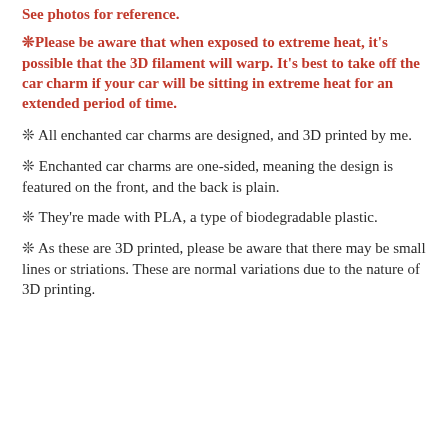See photos for reference.
❊Please be aware that when exposed to extreme heat, it's possible that the 3D filament will warp. It's best to take off the car charm if your car will be sitting in extreme heat for an extended period of time.
❊ All enchanted car charms are designed, and 3D printed by me.
❊ Enchanted car charms are one-sided, meaning the design is featured on the front, and the back is plain.
❊ They're made with PLA, a type of biodegradable plastic.
❊ As these are 3D printed, please be aware that there may be small lines or striations. These are normal variations due to the nature of 3D printing.